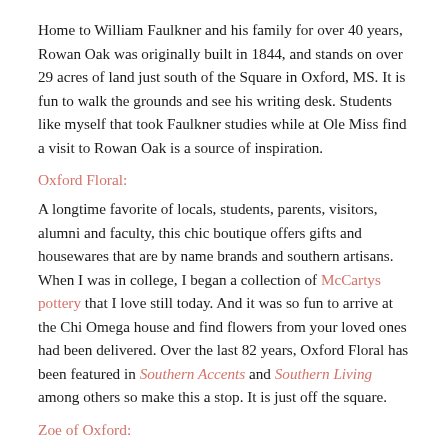Home to William Faulkner and his family for over 40 years, Rowan Oak was originally built in 1844, and stands on over 29 acres of land just south of the Square in Oxford, MS. It is fun to walk the grounds and see his writing desk. Students like myself that took Faulkner studies while at Ole Miss find a visit to Rowan Oak is a source of inspiration.
Oxford Floral:
A longtime favorite of locals, students, parents, visitors, alumni and faculty, this chic boutique offers gifts and housewares that are by name brands and southern artisans. When I was in college, I began a collection of McCartys pottery that I love still today. And it was so fun to arrive at the Chi Omega house and find flowers from your loved ones had been delivered. Over the last 82 years, Oxford Floral has been featured in Southern Accents and Southern Living among others so make this a stop. It is just off the square.
Zoe of Oxford: